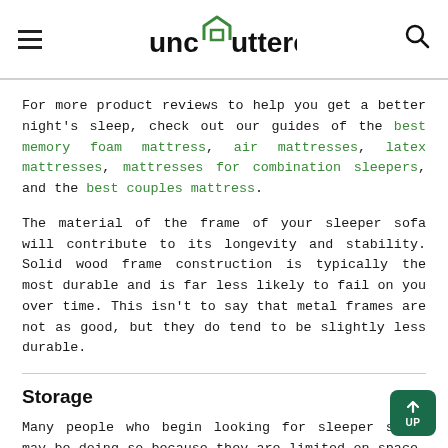unclutterer
For more product reviews to help you get a better night's sleep, check out our guides of the best memory foam mattress, air mattresses, latex mattresses, mattresses for combination sleepers, and the best couples mattress.
The material of the frame of your sleeper sofa will contribute to its longevity and stability. Solid wood frame construction is typically the most durable and is far less likely to fail on you over time. This isn't to say that metal frames are not as good, but they do tend to be slightly less durable.
Storage
Many people who begin looking for sleeper sofas may be doing so because they are limited on space, perhaps due to living in a small apartment or a